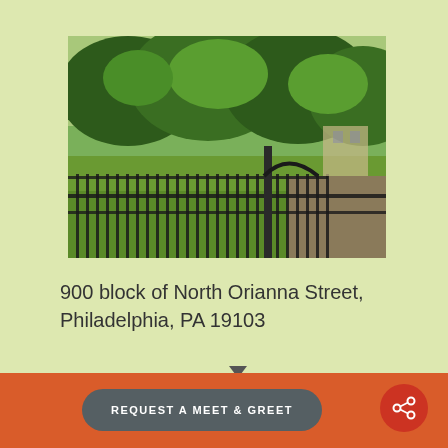[Figure (photo): Outdoor park or community garden area with metal iron fence in the foreground, green grass, and large trees in the background. Urban setting with buildings partially visible.]
900 block of North Orianna Street, Philadelphia, PA 19103
(between 2nd and 3rd and Poplar and Wildey
REQUEST A MEET & GREET